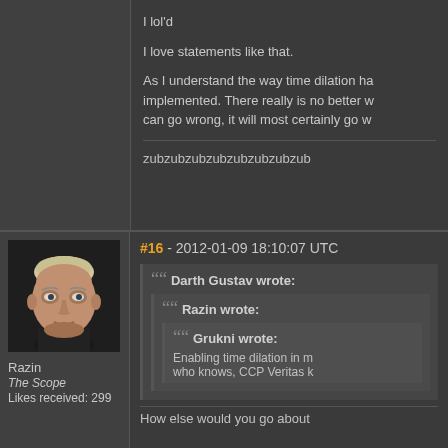I lol'd
I love statements like that.
As I understand the way time dilation ha... implemented. There really is no better w... can go wrong, it will most certainly go w...
zubzubzubzubzubzubzubzub
[Figure (photo): Avatar portrait of user Razin - close-up face of a bald/short-haired person]
Razin
The Scope
Likes received: 299
#16 - 2012-01-09 18:10:07 UTC
Darth Gustav wrote:
Razin wrote:
Grukni wrote:
Enabling time dilation in m... who knows, CCP Veritas k...
How else would you go about...